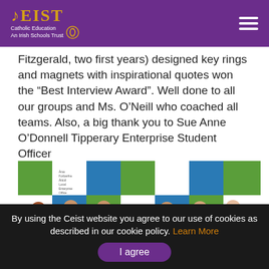CEIST — Catholic Education An Irish Schools Trust
Fitzgerald, two first years) designed key rings and magnets with inspirational quotes won the “Best Interview Award”. Well done to all our groups and Ms. O’Neill who coached all teams. Also, a big thank you to Sue Anne O’Donnell Tipperary Enterprise Student Officer
[Figure (photo): Group photo of six female students in red school uniforms and one adult woman in a pink blazer standing in front of a green and blue Local Enterprise Office branded backdrop.]
By using the Ceist website you agree to our use of cookies as described in our cookie policy. Learn More
I agree